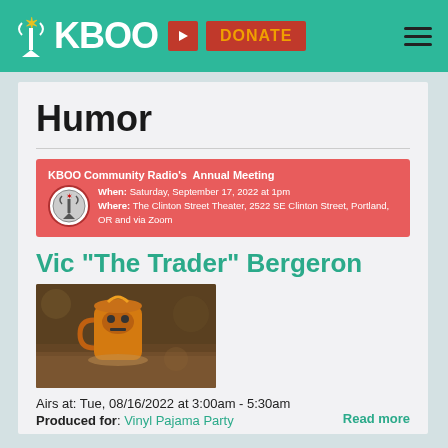KBOO — Play | DONATE | Menu
Humor
KBOO Community Radio's  Annual Meeting
When: Saturday, September 17, 2022 at 1pm
Where: The Clinton Street Theater, 2522 SE Clinton Street, Portland, OR and via Zoom
Vic "The Trader" Bergeron
[Figure (photo): A decorative tiki mug or vessel on a wooden surface with blurred background]
Airs at: Tue, 08/16/2022 at 3:00am - 5:30am
Produced for: Vinyl Pajama Party
Read more